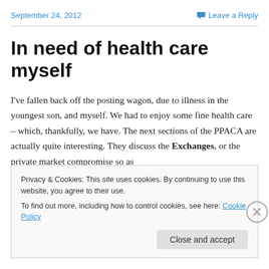September 24, 2012    Leave a Reply
In need of health care myself
I've fallen back off the posting wagon, due to illness in the youngest son, and myself. We had to enjoy some fine health care – which, thankfully, we have. The next sections of the PPACA are actually quite interesting. They discuss the Exchanges, or the private market compromise so as
Privacy & Cookies: This site uses cookies. By continuing to use this website, you agree to their use.
To find out more, including how to control cookies, see here: Cookie Policy
Close and accept